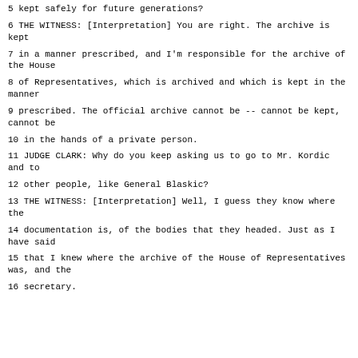5 kept safely for future generations?
6 THE WITNESS: [Interpretation] You are right. The archive is kept
7 in a manner prescribed, and I'm responsible for the archive of the House
8 of Representatives, which is archived and which is kept in the manner
9 prescribed. The official archive cannot be -- cannot be kept, cannot be
10 in the hands of a private person.
11 JUDGE CLARK: Why do you keep asking us to go to Mr. Kordic and to
12 other people, like General Blaskic?
13 THE WITNESS: [Interpretation] Well, I guess they know where the
14 documentation is, of the bodies that they headed. Just as I have said
15 that I knew where the archive of the House of Representatives was, and the
16 secretary.